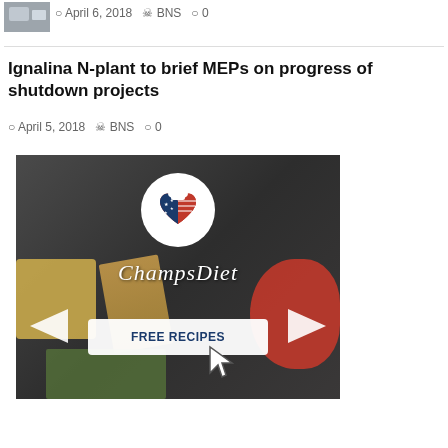[Figure (photo): Thumbnail image of an article]
© April 6, 2018  BNS  ◯ 0
Ignalina N-plant to brief MEPs on progress of shutdown projects
© April 5, 2018  BNS  ◯ 0
[Figure (advertisement): ChampsDiet advertisement banner with 'FREE RECIPES' button, food background with tomatoes, cheese, pasta, herbs, and a heart-shaped American flag logo]